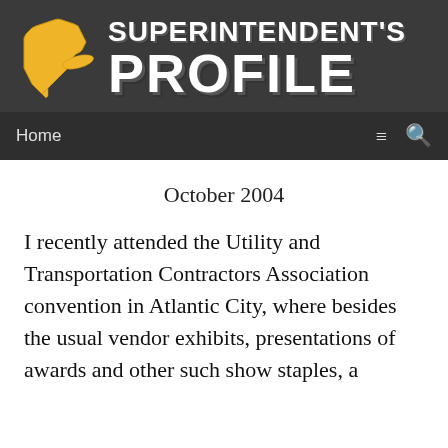[Figure (logo): Superintendent's Profile logo with New York State silhouette in gold on dark grey background]
Home
October 2004
I recently attended the Utility and Transportation Contractors Association convention in Atlantic City, where besides the usual vendor exhibits, presentations of awards and other such show staples, a